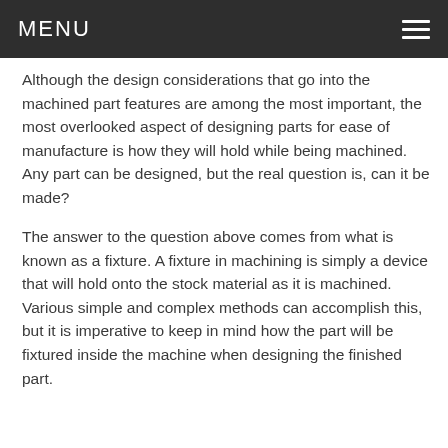MENU
Although the design considerations that go into the machined part features are among the most important, the most overlooked aspect of designing parts for ease of manufacture is how they will hold while being machined. Any part can be designed, but the real question is, can it be made?
The answer to the question above comes from what is known as a fixture. A fixture in machining is simply a device that will hold onto the stock material as it is machined. Various simple and complex methods can accomplish this, but it is imperative to keep in mind how the part will be fixtured inside the machine when designing the finished part.